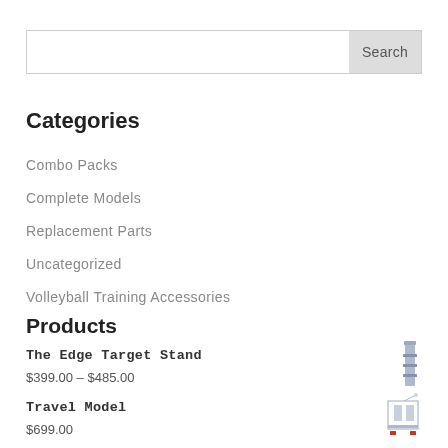[Figure (screenshot): Search bar with text input and Search button]
Categories
Combo Packs
Complete Models
Replacement Parts
Uncategorized
Volleyball Training Accessories
Products
The Edge Target Stand
$399.00 – $485.00
[Figure (photo): Small product image of The Edge Target Stand]
Travel Model
$699.00
[Figure (photo): Small product image of Travel Model]